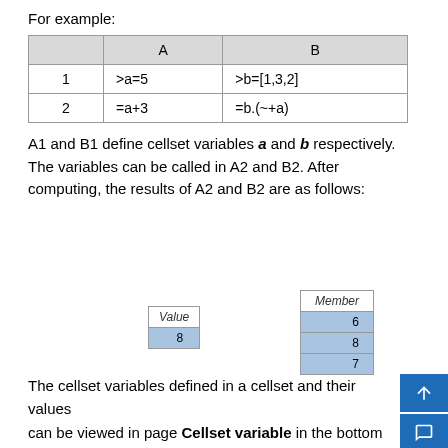For example:
|  | A | B |
| --- | --- | --- |
| 1 | >a=5 | >b=[1,3,2] |
| 2 | =a+3 | =b.(~+a) |
A1 and B1 define cellset variables a and b respectively. The variables can be called in A2 and B2. After computing, the results of A2 and B2 are as follows:
| Value |
| --- |
| 8 |
| Member |
| --- |
| 6 |
| 8 |
| 7 |
The cellset variables defined in a cellset and their values can be viewed in page Cellset variable in the bottom right of the interface: